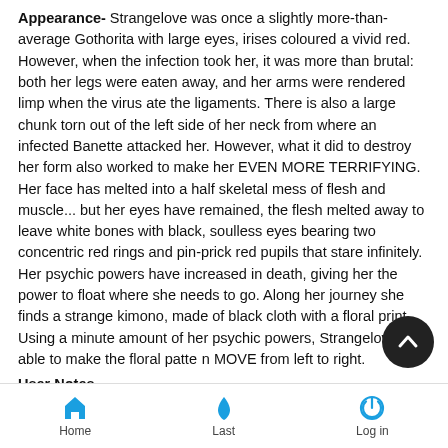Appearance- Strangelove was once a slightly more-than-average Gothorita with large eyes, irises coloured a vivid red. However, when the infection took her, it was more than brutal: both her legs were eaten away, and her arms were rendered limp when the virus ate the ligaments. There is also a large chunk torn out of the left side of her neck from where an infected Banette attacked her. However, what it did to destroy her form also worked to make her EVEN MORE TERRIFYING. Her face has melted into a half skeletal mess of flesh and muscle... but her eyes have remained, the flesh melted away to leave white bones with black, soulless eyes bearing two concentric red rings and pin-prick red pupils that stare infinitely. Her psychic powers have increased in death, giving her the power to float where she needs to go. Along her journey she finds a strange kimono, made of black cloth with a floral print. Using a minute amount of her psychic powers, Strangelove is able to make the floral pattern MOVE from left to right.
User Notes-
Home | Last | Log in